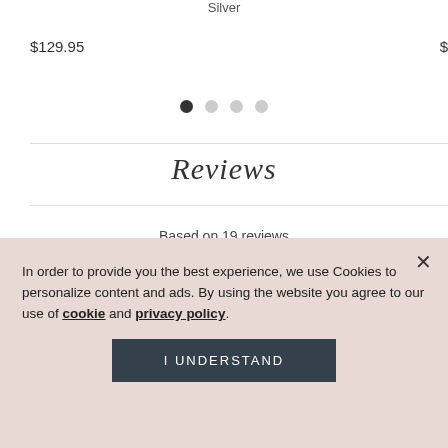Silver
$129.95
Reviews
Based on 19 reviews
In order to provide you the best experience, we use Cookies to personalize content and ads. By using the website you agree to our use of cookie and privacy policy.
I UNDERSTAND